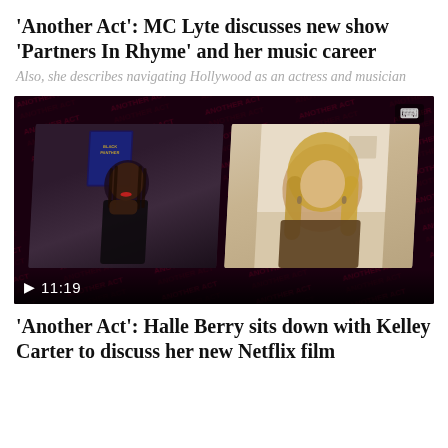'Another Act': MC Lyte discusses new show 'Partners In Rhyme' and her music career
Also, she describes navigating Hollywood as an actress and musician
[Figure (screenshot): Video player screenshot showing two people in a split-screen virtual interview format against a dark 'Another Act' branded background. Left panel shows a Black woman with braids resting her chin on her hand, with a Black Panther movie poster behind her. Right panel shows a woman with long blonde hair wearing a brown outfit. Play button and timecode 11:19 visible at bottom left. Logo badge in top right corner.]
'Another Act': Halle Berry sits down with Kelley Carter to discuss her new Netflix film 'Bruised'